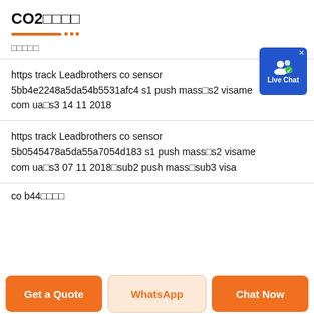CO2□□□□
□□□□□
https track Leadbrothers co sensor 5bb4e2248a5da54b5531afc4 s1 push mass□s2 visame com ua□s3 14 11 2018
https track Leadbrothers co sensor 5b0545478a5da55a7054d183 s1 push mass□s2 visame com ua□s3 07 11 2018□sub2 push mass□sub3 visa
co b44□□□□
Get a Quote | WhatsApp | Chat Now